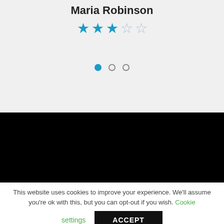Maria Robinson
[Figure (other): Star rating showing 3 out of 5 stars filled in blue]
[Figure (other): Carousel pagination dots: first dot filled blue, second and third empty]
[Figure (other): Black section/banner area]
This website uses cookies to improve your experience. We'll assume you're ok with this, but you can opt-out if you wish. Cookie settings ACCEPT